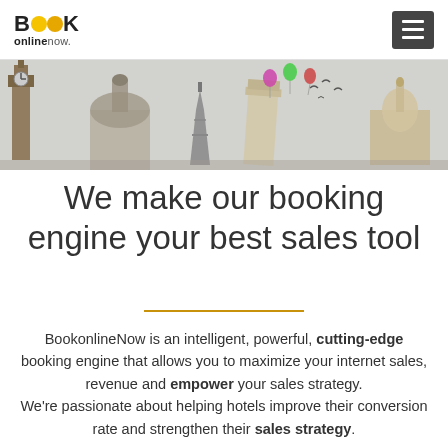BOOK onlinenow.
[Figure (illustration): Hero banner showing world landmarks including Big Ben, Eiffel Tower, Leaning Tower of Pisa, and Taj Mahal with colorful balloons floating above against a light sky background]
We make our booking engine your best sales tool
BookonlineNow is an intelligent, powerful, cutting-edge booking engine that allows you to maximize your internet sales, revenue and empower your sales strategy. We're passionate about helping hotels improve their conversion rate and strengthen their sales strategy.